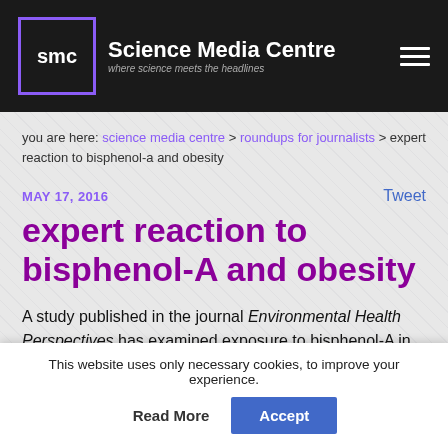Science Media Centre — where science meets the headlines
you are here: science media centre > roundups for journalists > expert reaction to bisphenol-a and obesity
MAY 17, 2016
expert reaction to bisphenol-A and obesity
A study published in the journal Environmental Health Perspectives has examined exposure to bisphenol-A in the
This website uses only necessary cookies, to improve your experience.